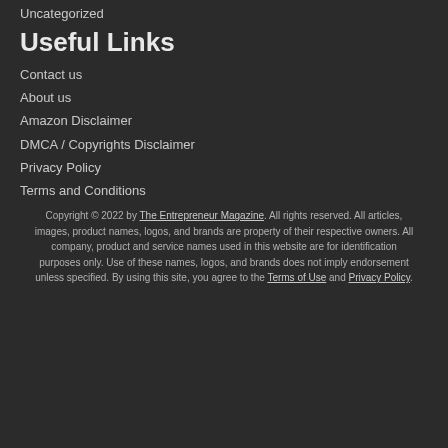Uncategorized
Useful Links
Contact us
About us
Amazon Disclaimer
DMCA / Copyrights Disclaimer
Privacy Policy
Terms and Conditions
Copyright © 2022 by The Entrepreneur Magazine. All rights reserved. All articles, images, product names, logos, and brands are property of their respective owners. All company, product and service names used in this website are for identification purposes only. Use of these names, logos, and brands does not imply endorsement unless specified. By using this site, you agree to the Terms of Use and Privacy Policy.